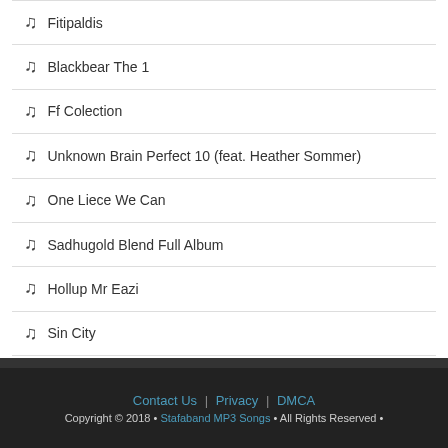Fitipaldis
Blackbear The 1
Ff Colection
Unknown Brain Perfect 10 (feat. Heather Sommer)
One Liece We Can
Sadhugold Blend Full Album
Hollup Mr Eazi
Sin City
Contact Us | Privacy | DMCA
Copyright © 2018 • Stafaband MP3 Songs • All Rights Reserved •